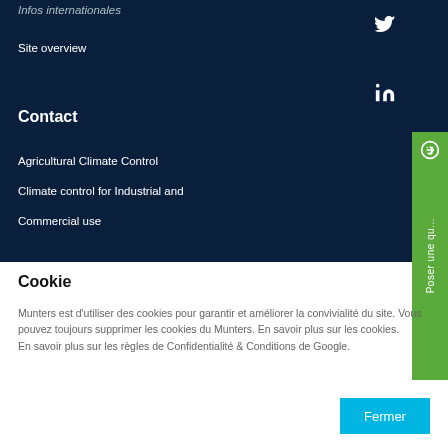Infos internationales
Site overview
Contact
Agricultural Climate Control
Climate control for Industrial and
Commercial use
Cookie
Munters est d'utiliser des cookies pour garantir et améliorer la convivialité du site. Vous pouvez toujours supprimer les cookies du Munters. En savoir plus sur les cookies.
En savoir plus sur les règles de Confidentialité & Conditions de Google.
Fermer